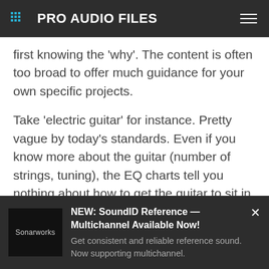PRO AUDIO FILES
first knowing the 'why'. The content is often too broad to offer much guidance for your own specific projects.
Take 'electric guitar' for instance. Pretty vague by today's standards. Even if you know more about the guitar (number of strings, tuning), the EQ charts tell you nothing about how to get the guitar to sit in the mix. We're advised not to EQ in solo, so how helpful are these graphs really when
[Figure (infographic): Sonarworks advertisement banner: NEW: SoundID Reference — Multichannel Available Now! Get consistent and reliable reference sound. Now supporting multichannel.]